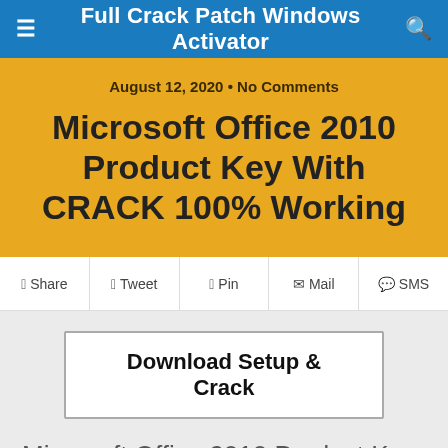Full Crack Patch Windows Activator
August 12, 2020 • No Comments
Microsoft Office 2010 Product Key With CRACK 100% Working
Share | Tweet | Pin | Mail | SMS
Download Setup & Crack
Microsoft Office 2010 Product Key (Windows + Mac)